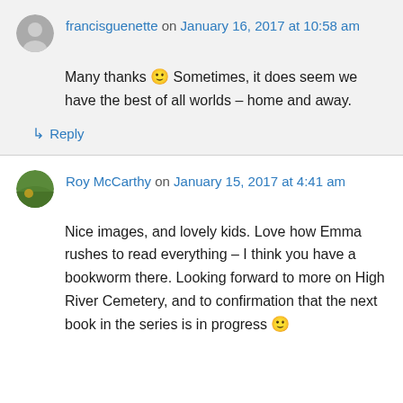francisguenette on January 16, 2017 at 10:58 am
Many thanks 🙂 Sometimes, it does seem we have the best of all worlds – home and away.
↳ Reply
Roy McCarthy on January 15, 2017 at 4:41 am
Nice images, and lovely kids. Love how Emma rushes to read everything – I think you have a bookworm there. Looking forward to more on High River Cemetery, and to confirmation that the next book in the series is in progress 🙂